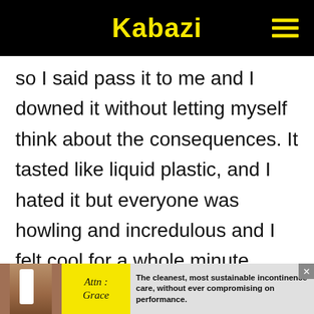Kabazi
so I said pass it to me and I downed it without letting myself think about the consequences. It tasted like liquid plastic, and I hated it but everyone was howling and incredulous and I felt cool for a whole minute.
[Figure (infographic): Advertisement bar at bottom: photo of person, 'Attn: Grace' yellow label, text 'The cleanest, most sustainable incontinence care, without ever compromising on performance.']